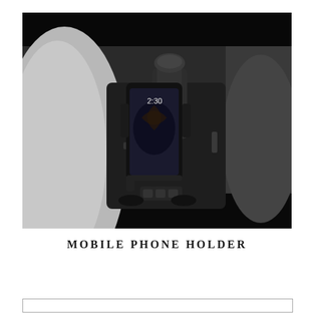[Figure (photo): A photo of a mobile phone mounted in a car phone holder attached to the center console area of a vehicle interior. The phone displays a lock screen showing 2:30. The car interior shows white/light grey leather seats, a gear shifter, center console controls. The photo has a dark/black border at top and bottom.]
MOBILE PHONE HOLDER